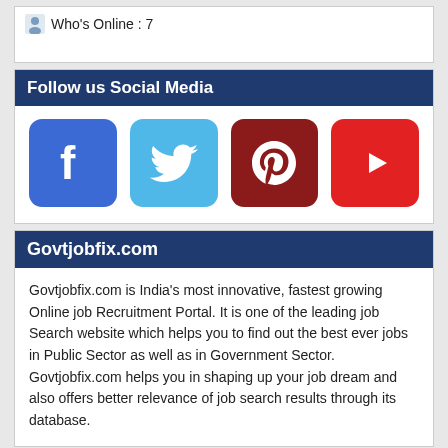Who's Online : 7
Follow us Social Media
[Figure (illustration): Social media icons: Facebook (blue rounded square), Twitter (light blue rounded square), Pinterest (dark red rounded square), YouTube (red rounded square)]
Govtjobfix.com
Govtjobfix.com is India's most innovative, fastest growing Online job Recruitment Portal. It is one of the leading job Search website which helps you to find out the best ever jobs in Public Sector as well as in Government Sector. Govtjobfix.com helps you in shaping up your job dream and also offers better relevance of job search results through its database.